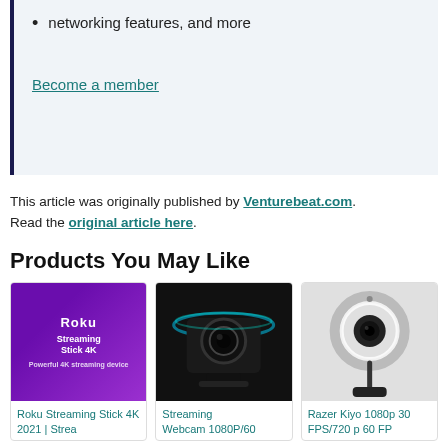networking features, and more
Become a member
This article was originally published by Venturebeat.com. Read the original article here.
Products You May Like
[Figure (photo): Roku Streaming Stick 4K product box with purple/black branding]
[Figure (photo): Streaming Webcam 1080P/60 with teal LED glow ring on black background]
[Figure (photo): Razer Kiyo 1080p 30 FPS/720p 60 FP webcam with ring light]
Roku Streaming Stick 4K 2021 | Strea
Streaming Webcam 1080P/60
Razer Kiyo 1080p 30 FPS/720 p 60 FP